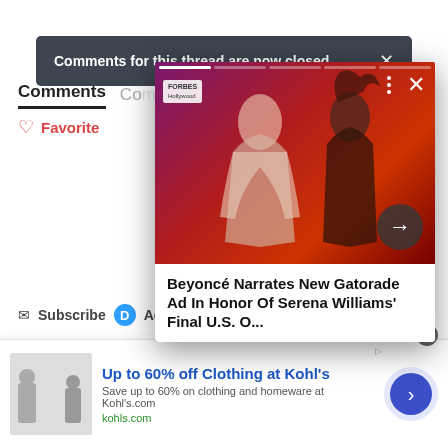Comments for this thread are now closed
Comments
Favorite
[Figure (screenshot): Video thumbnail showing two performers in dramatic red lighting with overlay card. Shows article preview: Beyoncé Narrates New Gatorade Ad In Honor Of Serena Williams' Final U.S. O...]
Beyoncé Narrates New Gatorade Ad In Honor Of Serena Williams' Final U.S. O...
Subscribe | Add
Up to 60% off Clothing at Kohl's
Save up to 60% on clothing and homeware at Kohl's.com
kohls.com